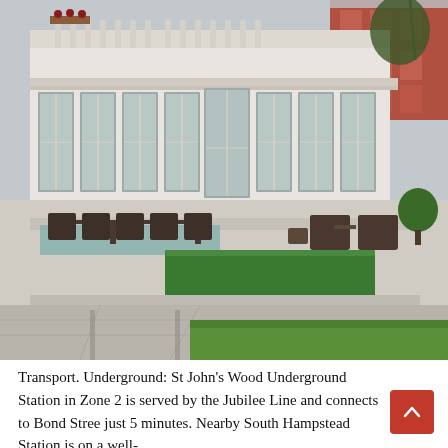[Figure (photo): Exterior photo of a large white neoclassical luxury London townhouse with a terrace, outdoor dining furniture, glass floor panels over a pool, a trimmed hedge, and a lawn. A red brick building is visible in the background.]
Transport. Underground: St John's Wood Underground Station in Zone 2 is served by the Jubilee Line and connects to Bond Street just 5 minutes. Nearby South Hampstead Station is on a well-